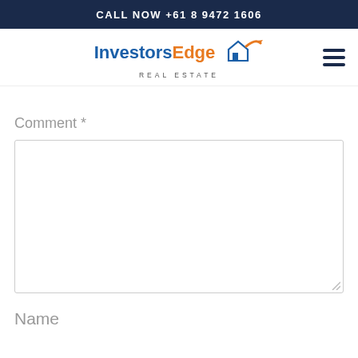CALL NOW +61 8 9472 1606
[Figure (logo): InvestorsEdge Real Estate logo with house and arrow icon]
Comment *
Name